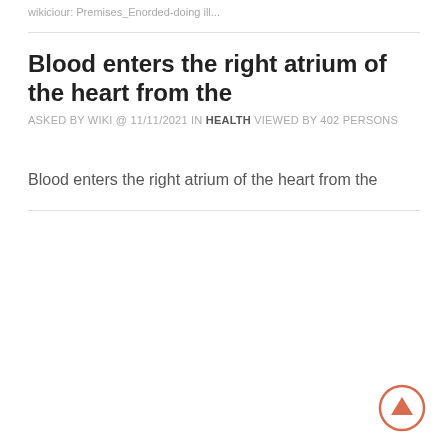wikiciour: Premises_Enorded-doing ill...
Blood enters the right atrium of the heart from the
ASKED BY WIKI @ 11/11/2021 IN HEALTH VIEWED BY 402 PERSONS
Blood enters the right atrium of the heart from the